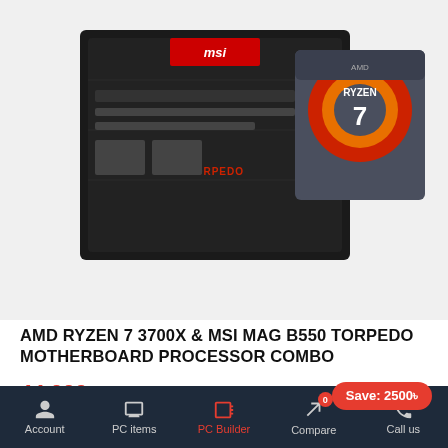[Figure (photo): Product image showing MSI MAG B550 Torpedo motherboard and AMD Ryzen 7 processor box combo on a light gray background]
AMD RYZEN 7 3700X & MSI MAG B550 TORPEDO MOTHERBOARD PROCESSOR COMBO
44,000৳
Add To Cart
Save: 2500৳
Account | PC items | PC Builder | Compare | Call us